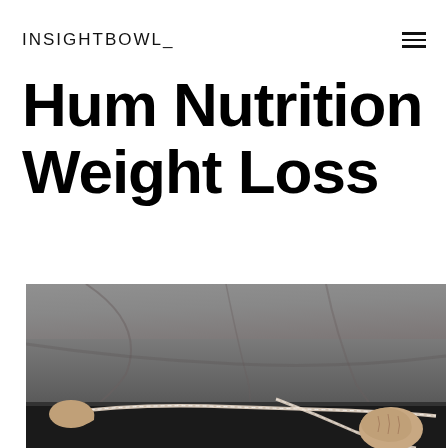INSIGHTBOWL
Hum Nutrition Weight Loss
[Figure (photo): Person in a grey long-sleeve shirt pulling a measuring tape around their waist/midsection, photographed from below against a blue sky background.]